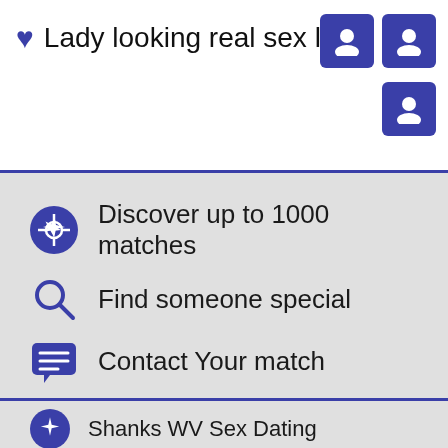Lady looking real sex lola
Discover up to 1000 matches
Find someone special
Contact Your match
Shanks WV Sex Dating